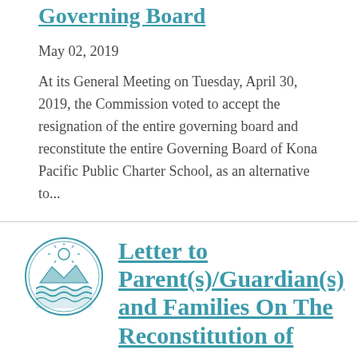Governing Board
May 02, 2019
At its General Meeting on Tuesday, April 30, 2019, the Commission voted to accept the resignation of the entire governing board and reconstitute the entire Governing Board of Kona Pacific Public Charter School, as an alternative to...
[Figure (logo): Circular seal/logo of an organization with ocean and sun imagery in teal/blue tones]
Letter to Parent(s)/Guardian(s) and Families On The Reconstitution of